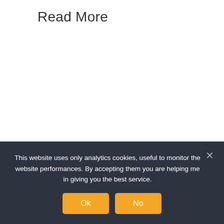Read More
This website uses only analytics cookies, useful to monitor the website performances. By accepting them you are helping me in giving you the best service.
Ok
No